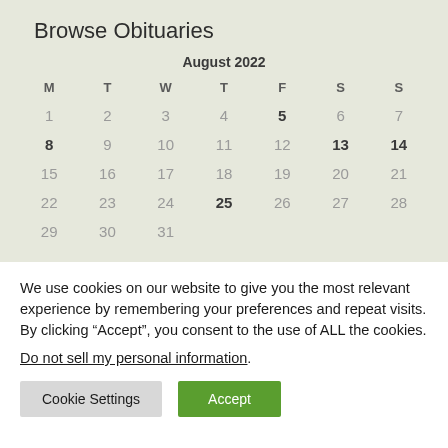Browse Obituaries
| M | T | W | T | F | S | S |
| --- | --- | --- | --- | --- | --- | --- |
| 1 | 2 | 3 | 4 | 5 | 6 | 7 |
| 8 | 9 | 10 | 11 | 12 | 13 | 14 |
| 15 | 16 | 17 | 18 | 19 | 20 | 21 |
| 22 | 23 | 24 | 25 | 26 | 27 | 28 |
| 29 | 30 | 31 |  |  |  |  |
We use cookies on our website to give you the most relevant experience by remembering your preferences and repeat visits. By clicking “Accept”, you consent to the use of ALL the cookies.
Do not sell my personal information.